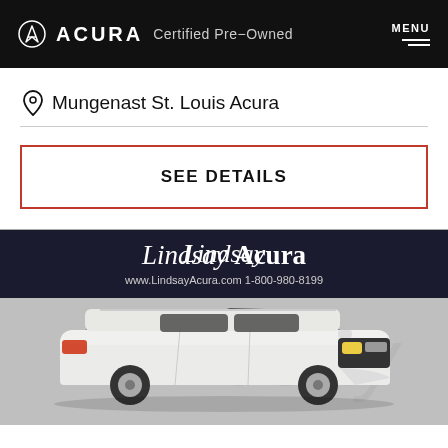ACURA Certified Pre-Owned — MENU
Mungenast St. Louis Acura
SEE DETAILS
[Figure (photo): White Acura MDX SUV photographed in front of a Lindsay Acura dealer banner showing www.LindsayAcura.com and 1-800-980-8199]